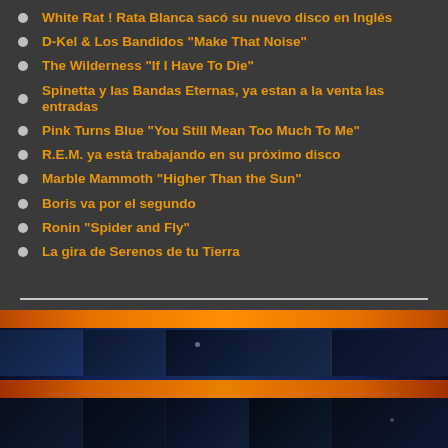White Rat ! Rata Blanca sacó su nuevo disco en Inglés
D-Kel & Los Bandidos "Make That Noise"
The Wilderness "If I Have To Die"
Spinetta y las Bandas Eternas, ya estan a la venta las entradas
Pink Turns Blue "You Still Mean Too Much To Me"
R.E.M. ya está trabajando en su próximo disco
Marble Mammoth "Higher Than the Sun"
Boris va por el segundo
Ronin "Spider and Fly"
La gira de Serenos de tu Tierra
[Figure (photo): Decorative bottom banner with alternating orange and dark blue horizontal photo strips showing abstract/blurred imagery]